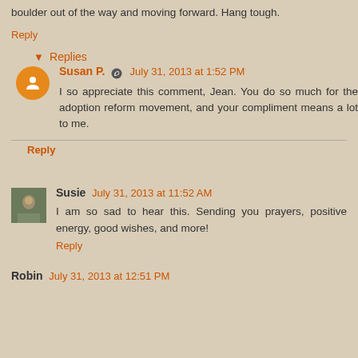boulder out of the way and moving forward. Hang tough.
Reply
Replies
Susan P. July 31, 2013 at 1:52 PM
I so appreciate this comment, Jean. You do so much for the adoption reform movement, and your compliment means a lot to me.
Reply
Susie July 31, 2013 at 11:52 AM
I am so sad to hear this. Sending you prayers, positive energy, good wishes, and more!
Reply
Robin July 31, 2013 at 12:51 PM